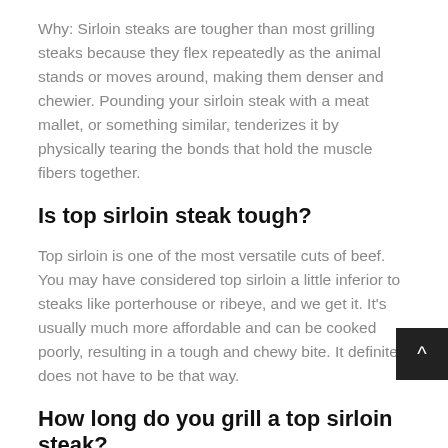Why: Sirloin steaks are tougher than most grilling steaks because they flex repeatedly as the animal stands or moves around, making them denser and chewier. Pounding your sirloin steak with a meat mallet, or something similar, tenderizes it by physically tearing the bonds that hold the muscle fibers together.
Is top sirloin steak tough?
Top sirloin is one of the most versatile cuts of beef. You may have considered top sirloin a little inferior to steaks like porterhouse or ribeye, and we get it. It's usually much more affordable and can be cooked poorly, resulting in a tough and chewy bite. It definitely does not have to be that way.
How long do you grill a top sirloin steak?
Sprinkle both sides of each steak with salt and pepper. Grill...